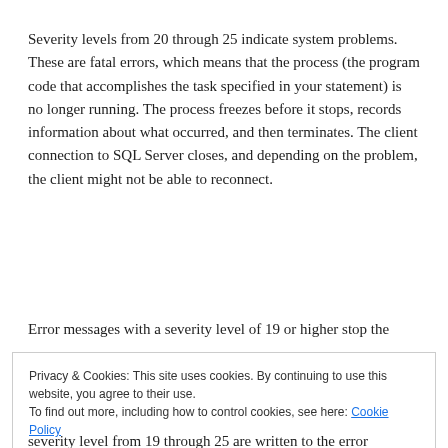Severity levels from 20 through 25 indicate system problems. These are fatal errors, which means that the process (the program code that accomplishes the task specified in your statement) is no longer running. The process freezes before it stops, records information about what occurred, and then terminates. The client connection to SQL Server closes, and depending on the problem, the client might not be able to reconnect.
Error messages with a severity level of 19 or higher stop the
Privacy & Cookies: This site uses cookies. By continuing to use this website, you agree to their use.
To find out more, including how to control cookies, see here: Cookie Policy
Close and accept
severity level from 19 through 25 are written to the error